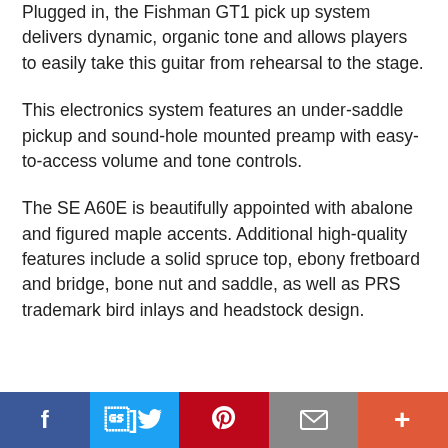Plugged in, the Fishman GT1 pick up system delivers dynamic, organic tone and allows players to easily take this guitar from rehearsal to the stage.
This electronics system features an under-saddle pickup and sound-hole mounted preamp with easy-to-access volume and tone controls.
The SE A60E is beautifully appointed with abalone and figured maple accents. Additional high-quality features include a solid spruce top, ebony fretboard and bridge, bone nut and saddle, as well as PRS trademark bird inlays and headstock design.
[Figure (infographic): Social media sharing bar with Facebook, Twitter, Pinterest, Email, and More buttons]